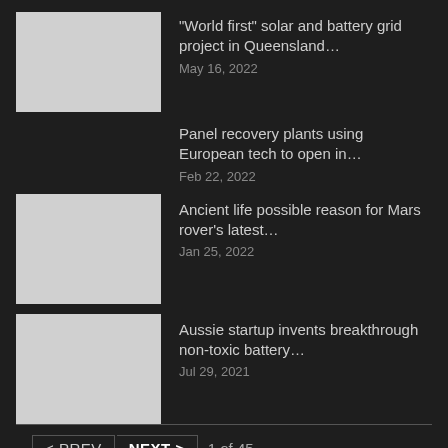"World first" solar and battery grid project in Queensland... May 16, 2022
Panel recovery plants using European tech to open in... Feb 22, 2022
Ancient life possible reason for Mars rover's latest... Jan 25, 2022
Aussie startup invents breakthrough non-toxic battery... Jul 29, 2021
< PREV  NEXT >  1 of 45
This website uses cookies to improve your experience. We'll assume you're ok with this, but you can opt-out if you wish. Accept  Read More